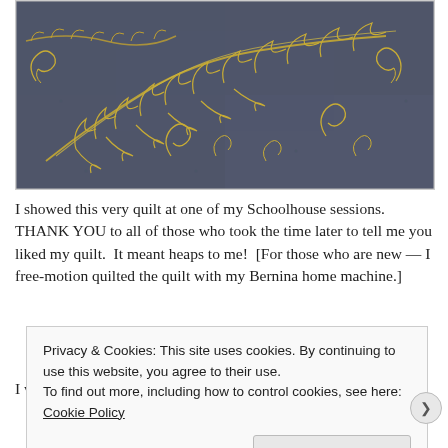[Figure (photo): Close-up photo of a blue-gray quilt with intricate free-motion quilted gold/yellow feather and scroll patterns on a dark navy background.]
I showed this very quilt at one of my Schoolhouse sessions.  THANK YOU to all of those who took the time later to tell me you liked my quilt.  It meant heaps to me!  [For those who are new — I free-motion quilted the quilt with my Bernina home machine.]
I wasn't able to take very many good pictures of this quilt.  For
Privacy & Cookies: This site uses cookies. By continuing to use this website, you agree to their use.
To find out more, including how to control cookies, see here: Cookie Policy
Close and accept